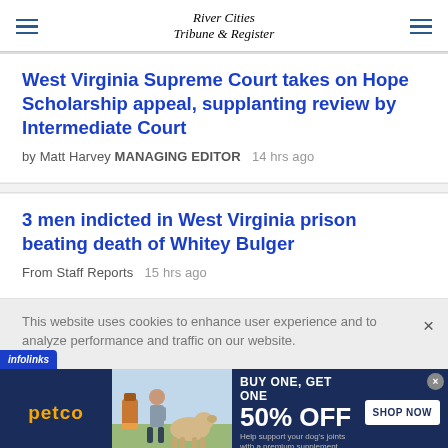River Cities Tribune & Register
West Virginia Supreme Court takes on Hope Scholarship appeal, supplanting review by Intermediate Court
by Matt Harvey MANAGING EDITOR   14 hrs ago
3 men indicted in West Virginia prison beating death of Whitey Bulger
From Staff Reports   15 hrs ago
This website uses cookies to enhance user experience and to analyze performance and traffic on our website.
[Figure (other): Petco advertisement: BUY ONE, GET ONE 50% OFF - Help support your dog's joints with a premium supplement. SHOP NOW button. Shows woman with dog outdoors and supplement bottle.]